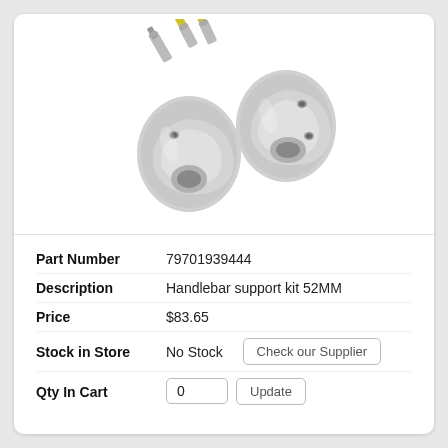[Figure (photo): Product photo of a handlebar support kit showing two silver/chrome metal clamp pieces and two bolts with yellow-coated threads on a white background.]
| Part Number | 79701939444 |
| Description | Handlebar support kit 52MM |
| Price | $83.65 |
| Stock in Store | No Stock |
| Qty In Cart | 0 |